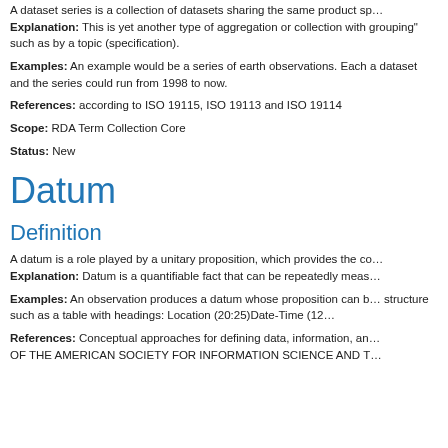A dataset series is a collection of datasets sharing the same product sp...
Explanation: This is yet another type of aggregation or collection with grouping" such as by a topic (specification).
Examples: An example would be a series of earth observations. Each a dataset and the series could run from 1998 to now.
References: according to ISO 19115, ISO 19113 and ISO 19114
Scope: RDA Term Collection Core
Status: New
Datum
Definition
A datum is a role played by a unitary proposition, which provides the co...
Explanation: Datum is a quantifiable fact that can be repeatedly meas...
Examples: An observation produces a datum whose proposition can b... structure such as a table with headings: Location (20:25)Date-Time (12...
References: Conceptual approaches for defining data, information, an... OF THE AMERICAN SOCIETY FOR INFORMATION SCIENCE AND T...